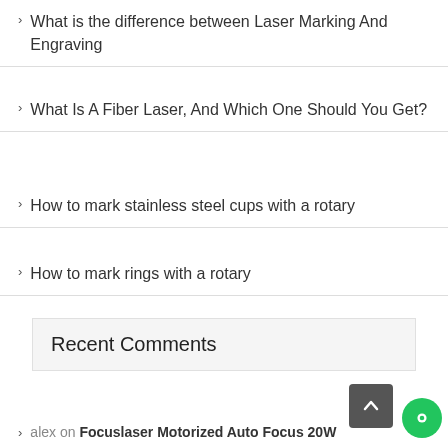What is the difference between Laser Marking And Engraving
What Is A Fiber Laser, And Which One Should You Get?
How to mark stainless steel cups with a rotary
How to mark rings with a rotary
Recent Comments
alex on Focuslaser Motorized Auto Focus 20W